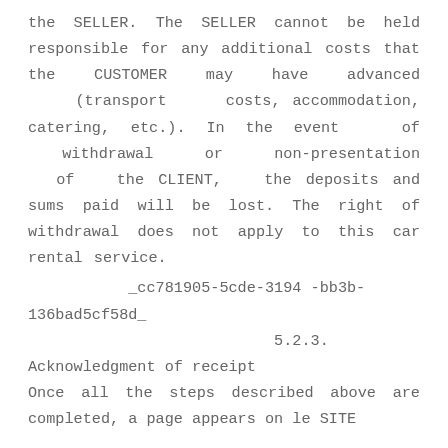the SELLER. The SELLER cannot be held responsible for any additional costs that the CUSTOMER may have advanced (transport costs, accommodation, catering, etc.). In the event of withdrawal or non-presentation of the CLIENT, the deposits and sums paid will be lost. The right of withdrawal does not apply to this car rental service.
_cc781905-5cde-3194 -bb3b-136bad5cf58d_                    5.2.3.
Acknowledgment of receipt
Once all the steps described above are completed, a page appears on le SITE